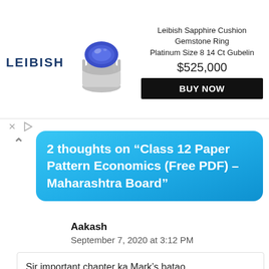[Figure (other): Advertisement banner for Leibish Sapphire Cushion Gemstone Ring Platinum Size 8 14 Ct Gubelin priced at $525,000 with BUY NOW button, featuring the Leibish logo and a blue sapphire ring image.]
2 thoughts on “Class 12 Paper Pattern Economics (Free PDF) – Maharashtra Board”
Aakash
September 7, 2020 at 3:12 PM
Sir important chapter ka Mark’s batao